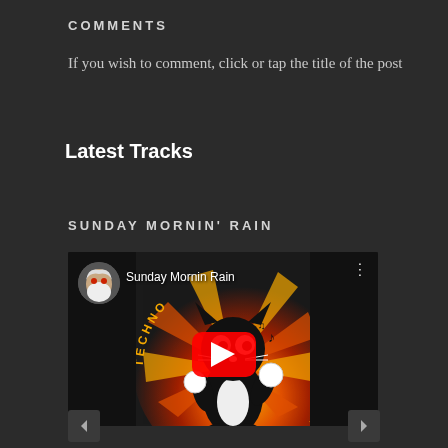COMMENTS
If you wish to comment, click or tap the title of the post
Latest Tracks
SUNDAY MORNIN’ RAIN
[Figure (screenshot): YouTube video embed thumbnail showing a cartoon cat character (Felix the Cat style) dancing against a colorful sunburst background with text 'TECHNO OUTLINS' around the circle. The video title reads 'Sunday Mornin Rain'. A red YouTube play button is centered on the thumbnail. A user avatar with a bearded man appears in the top left.]